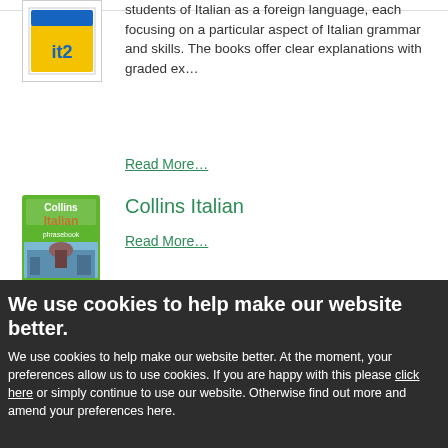[Figure (logo): it2 logo — blue and yellow square logo with 'it2' text and a blue pencil or cursor above]
students of Italian as a foreign language, each focusing on a particular aspect of Italian grammar and skills. The books offer clear explanations with graded ex…
Read More…
[Figure (photo): Collins Italian phrasebook cover — green cover with 'Collins Italian phrasebook' text and a cityscape photo of Florence with the Duomo]
Collins Italian
Read More…
We use cookies to help make our website better.
We use cookies to help make our website better. At the moment, your preferences allow us to use cookies. If you are happy with this please click here or simply continue to use our website. Otherwise find out more and amend your preferences here.